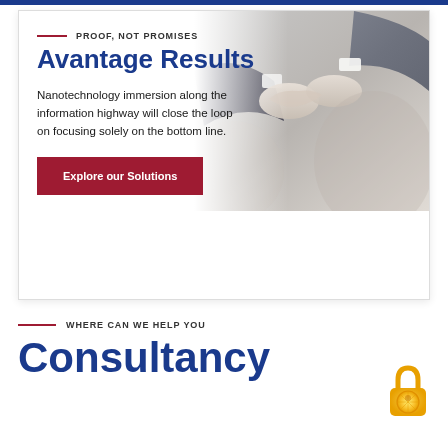[Figure (photo): Handshake photo of business professionals in suits, partially visible, light muted tones, in upper right of hero card]
PROOF, NOT PROMISES
Avantage Results
Nanotechnology immersion along the information highway will close the loop on focusing solely on the bottom line.
Explore our Solutions
WHERE CAN WE HELP YOU
Consultancy
[Figure (illustration): Yellow/orange padlock icon with lemon slice design]